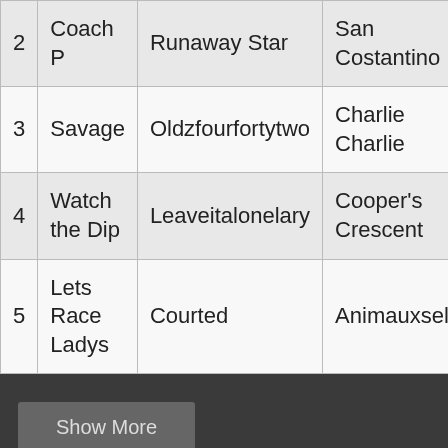| 2 | Coach P | Runaway Star | San Costantino |
| 3 | Savage | Oldzfourfortytwo | Charlie Charlie |
| 4 | Watch the Dip | Leaveitalonelary | Cooper's Crescent |
| 5 | Lets Race Ladys | Courted | Animauxselle |
Show More
🏃 PRESQUE ISLE UPCOMING GRADED STAKES